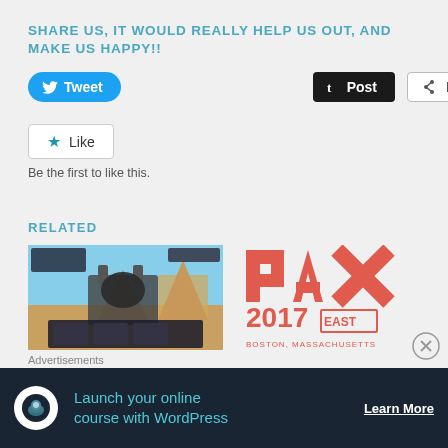SHARE US, IT WOULD REALLY HELP US OUT, AND MAKE US HAPPY!!
[Figure (other): Social sharing buttons: Tweet (Twitter/blue pill button), Post (Tumblr/dark button), More (share icon button)]
[Figure (other): Like button (star icon) with text 'Be the first to like this.']
Be the first to like this.
RELATED
[Figure (screenshot): Game screenshot showing a mech robot near pyramids in a desert landscape with character icons at the bottom]
[Figure (logo): PAX 2017 EAST logo in red/coral with text BOSTON, MASSACHUSETTS below]
Advertisements
[Figure (infographic): Advertisement banner: Launch your online course with WordPress - Learn More button]